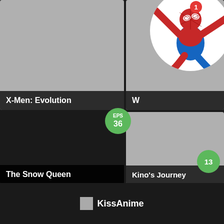[Figure (screenshot): Mobile app grid showing anime/cartoon show thumbnails: X-Men Evolution (top-left), partially visible title starting with W (top-right), The Snow Queen (bottom-left), Kino's Journey (bottom-right). A Spiderman circular image overlaps the top-right area with a red notification badge showing '1'. Green episode badges show EPS 36 and 13.]
X-Men: Evolution
W
EPS
36
13
1
The Snow Queen
Kino's Journey
KissAnime